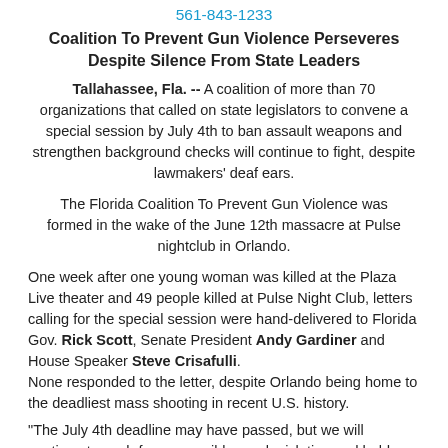561-843-1233
Coalition To Prevent Gun Violence Perseveres Despite Silence From State Leaders
Tallahassee, Fla. -- A coalition of more than 70 organizations that called on state legislators to convene a special session by July 4th to ban assault weapons and strengthen background checks will continue to fight, despite lawmakers' deaf ears.
The Florida Coalition To Prevent Gun Violence was formed in the wake of the June 12th massacre at Pulse nightclub in Orlando.
One week after one young woman was killed at the Plaza Live theater and 49 people killed at Pulse Night Club, letters calling for the special session were hand-delivered to Florida Gov. Rick Scott, Senate President Andy Gardiner and House Speaker Steve Crisafulli. None responded to the letter, despite Orlando being home to the deadliest mass shooting in recent U.S. history.
"The July 4th deadline may have passed, but we will continue to push for responsible gun legislation and hold our lawmakers accountable for the public safety of Floridians," said Patricia Brigham, Chair of the state league's Gun Safety Committee. "The newly formed Florida Coalition to Prevent Gun Violence is 70 organizations strong and growing. We are in this fight to go the